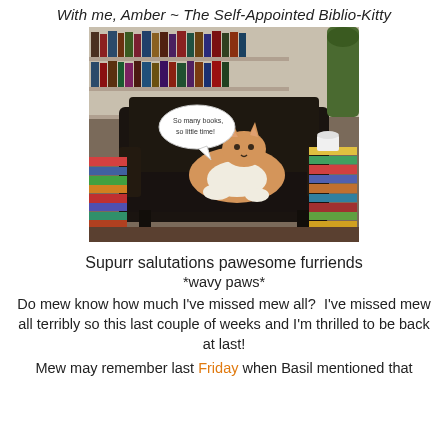With me, Amber ~ The Self-Appointed Biblio-Kitty
[Figure (photo): A cat (orange and white) sitting on a dark armchair surrounded by stacks of books and bookshelves. A speech bubble reads: 'So many books, so little time!']
Supurr salutations pawesome furriends
*wavy paws*
Do mew know how much I've missed mew all?  I've missed mew all terribly so this last couple of weeks and I'm thrilled to be back at last!
Mew may remember last Friday when Basil mentioned that